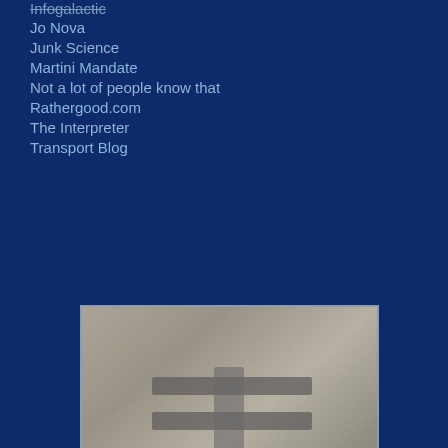Infogalactic
Jo Nova
Junk Science
Martini Mandate
Not a lot of people know that
Rathergood.com
The Interpreter
Transport Blog
[Figure (photo): Grayscale photo showing a cross or symbol carved or embossed on stone or metal surface]
s e t o s p e n d h u n d r e d s o f b i l l i o n s o f d